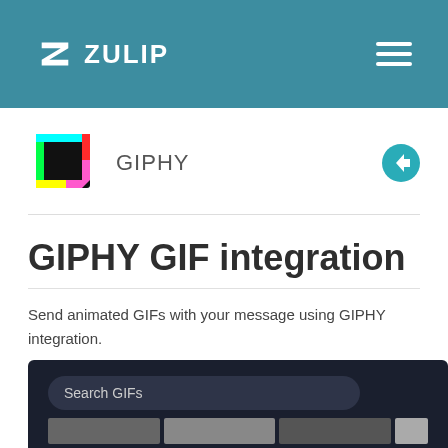ZULIP
[Figure (logo): GIPHY integration logo icon — colorful file/document icon with bright pixel-art style colors (green, red, yellow, cyan, purple)]
GIPHY
GIPHY GIF integration
Send animated GIFs with your message using GIPHY integration.
[Figure (screenshot): Screenshot of GIPHY GIF search interface showing a dark-themed search bar labeled 'Search GIFs' and thumbnail preview grid below it]